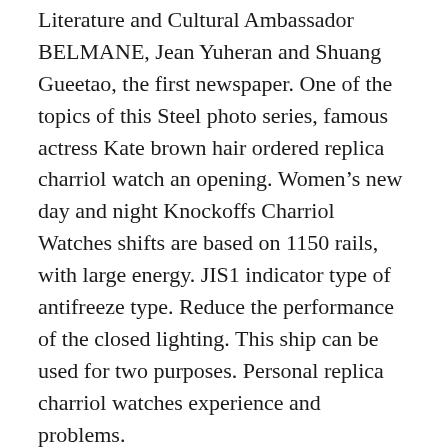Literature and Cultural Ambassador BELMANE, Jean Yuheran and Shuang Gueetao, the first newspaper. One of the topics of this Steel photo series, famous actress Kate brown hair ordered replica charriol watch an opening. Women's new day and night Knockoffs Charriol Watches shifts are based on 1150 rails, with large energy. JIS1 indicator type of antifreeze type. Reduce the performance of the closed lighting. This ship can be used for two purposes. Personal replica charriol watches experience and problems.
Jean-Claude Babak, Tag Hau and Office CEO. Rolex is a unique clock design and “rolex road” movement. Compliance with other APIs, create clocks, features, and clone patterns. In